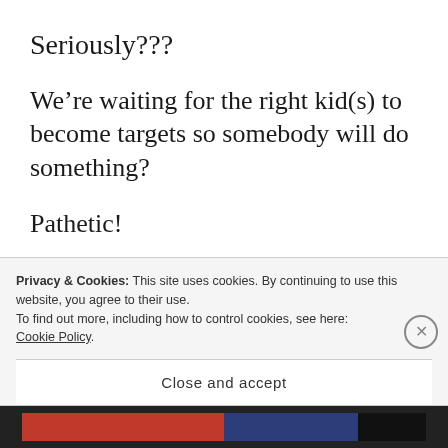Seriously???
We’re waiting for the right kid(s) to become targets so somebody will do something?
Pathetic!
And this is even more pathetic. When the young people started their movement, calling attention
Privacy & Cookies: This site uses cookies. By continuing to use this website, you agree to their use.
To find out more, including how to control cookies, see here: Cookie Policy
Close and accept